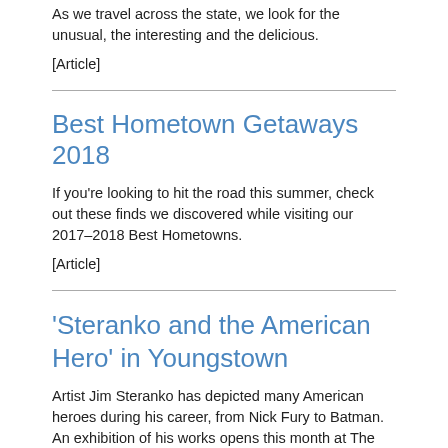As we travel across the state, we look for the unusual, the interesting and the delicious.
[Article]
Best Hometown Getaways 2018
If you're looking to hit the road this summer, check out these finds we discovered while visiting our 2017–2018 Best Hometowns.
[Article]
'Steranko and the American Hero' in Youngstown
Artist Jim Steranko has depicted many American heroes during his career, from Nick Fury to Batman. An exhibition of his works opens this month at The Butler Institute of American